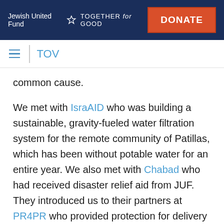Jewish United Fund TOGETHER for GOOD | DONATE
TOV
common cause.
We met with IsraAID who was building a sustainable, gravity-fueled water filtration system for the remote community of Patillas, which has been without potable water for an entire year. We also met with Chabad who had received disaster relief aid from JUF. They introduced us to their partners at PR4PR who provided protection for delivery of food and